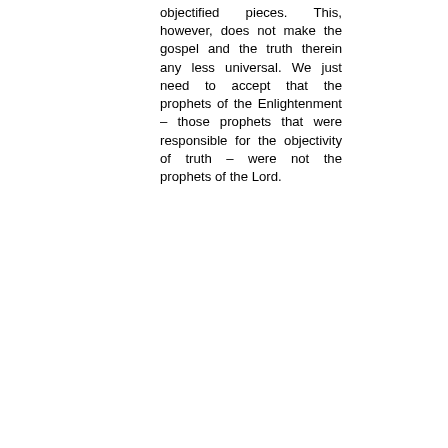objectified pieces. This, however, does not make the gospel and the truth therein any less universal. We just need to accept that the prophets of the Enlightenment – those prophets that were responsible for the objectivity of truth – were not the prophets of the Lord.